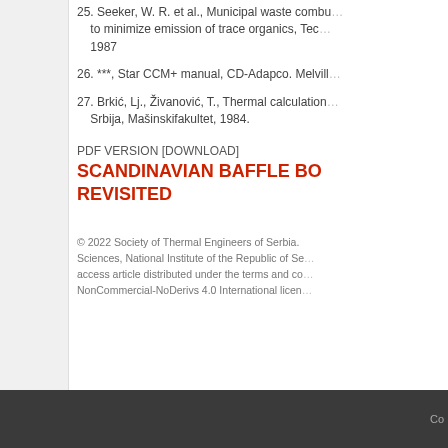25. Seeker, W. R. et al., Municipal waste combustion to minimize emission of trace organics, Tec... 1987
26. ***, Star CCM+ manual, CD-Adapco. Melvill...
27. Brkić, Lj., Živanović, T., Thermal calculation... Srbija, Mašinskifakultet, 1984.
PDF VERSION [DOWNLOAD]
SCANDINAVIAN BAFFLE BO... REVISITED
© 2022 Society of Thermal Engineers of Serbia. Sciences, National Institute of the Republic of Se... access article distributed under the terms and co... NonCommercial-NoDerivs 4.0 International licen...
Co